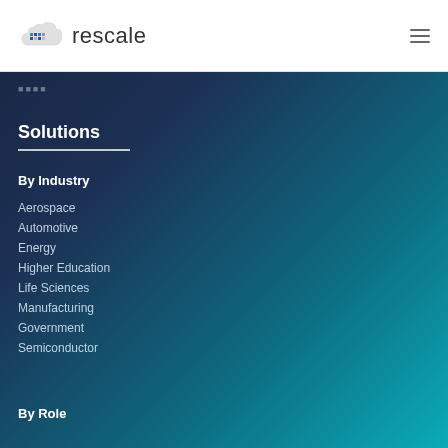[Figure (logo): Rescale cloud logo with pixel/dot pattern and company name 'rescale']
rescale
⬛⬛⬛⬛
Solutions
By Industry
Aerospace
Automotive
Energy
Higher Education
Life Sciences
Manufacturing
Government
Semiconductor
By Role